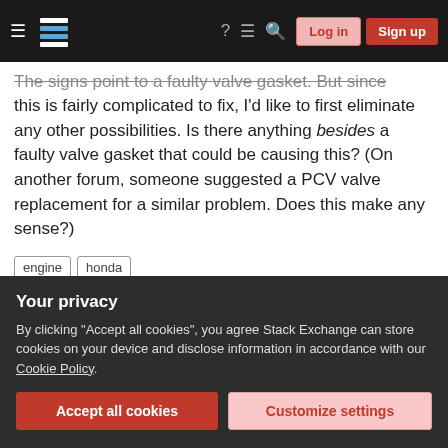Stack Exchange navigation bar with Log in and Sign up buttons
The signs point to a faulty valve gasket. But since this is fairly complicated to fix, I'd like to first eliminate any other possibilities. Is there anything besides a faulty valve gasket that could be causing this? (On another forum, someone suggested a PCV valve replacement for a similar problem. Does this make any sense?)
engine
honda
Share
asked Sep 28, 2011 at 15:11
Your privacy
By clicking "Accept all cookies", you agree Stack Exchange can store cookies on your device and disclose information in accordance with our Cookie Policy.
Accept all cookies
Customize settings